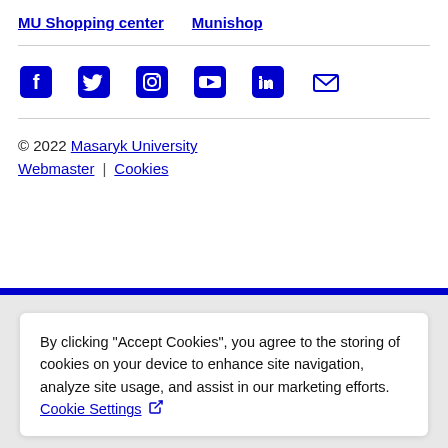MU Shopping center   Munishop
[Figure (infographic): Row of social media icons: Facebook, Twitter, Instagram, YouTube, LinkedIn, Email]
© 2022 Masaryk University
Webmaster | Cookies
By clicking "Accept Cookies", you agree to the storing of cookies on your device to enhance site navigation, analyze site usage, and assist in our marketing efforts. Cookie Settings [external link icon]